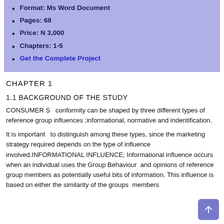Format: Ms Word Document
Pages: 68
Price: N 3,000
Chapters: 1-5
Get the Complete Project
CHAPTER  1
1.1  BACKGROUND OF THE STUDY
CONSUMER S   conformity can be shaped by three different types of reference group influences ;informational, normative and indentification.
It is important   to distinguish among these types, since the marketing strategy required depends on the type of influence involved.INFORMATIONAL INFLUENCE; Informational influence occurs when an individual uses the Group Behaviour  and opinions of reference group members as potentially useful bits of information. This influence is based on either the similarity of the groups  members